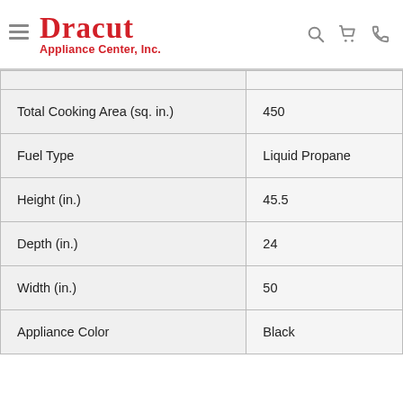Dracut Appliance Center, Inc.
| Attribute | Value |
| --- | --- |
| Total Cooking Area (sq. in.) | 450 |
| Fuel Type | Liquid Propane |
| Height (in.) | 45.5 |
| Depth (in.) | 24 |
| Width (in.) | 50 |
| Appliance Color | Black |